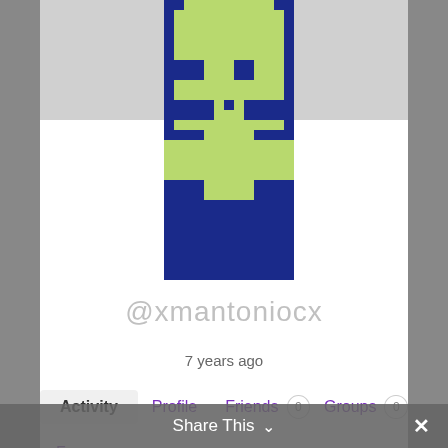[Figure (illustration): Pixel art avatar of a character with a blue background and green/lime colored body, smiling face, on a user profile page]
@xmantoniocx
7 years ago
Activity  Profile  Friends 0  Groups 0
Forums
Personal  Mentions  Favorites  Friends
Groups  Show: — Everything —
Share This  ✕